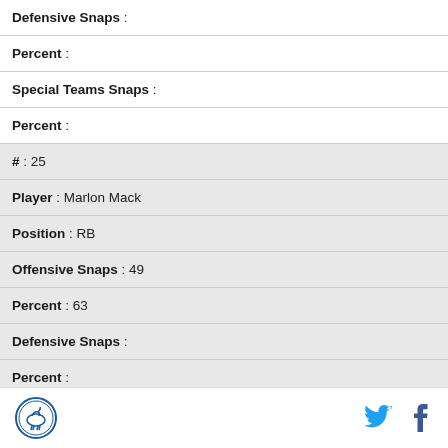| Defensive Snaps : |
| Percent : |
| Special Teams Snaps : |
| Percent : |
| # : 25 |
| Player : Marlon Mack |
| Position : RB |
| Offensive Snaps : 49 |
| Percent : 63 |
| Defensive Snaps : |
| Percent : |
Logo | Twitter | Facebook